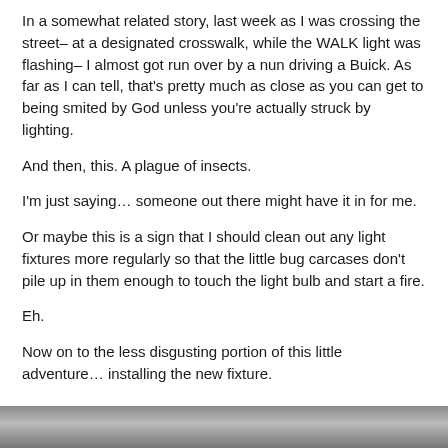In a somewhat related story, last week as I was crossing the street– at a designated crosswalk, while the WALK light was flashing– I almost got run over by a nun driving a Buick. As far as I can tell, that's pretty much as close as you can get to being smited by God unless you're actually struck by lighting.
And then, this. A plague of insects.
I'm just saying… someone out there might have it in for me.
Or maybe this is a sign that I should clean out any light fixtures more regularly so that the little bug carcases don't pile up in them enough to touch the light bulb and start a fire.
Eh.
Now on to the less disgusting portion of this little adventure… installing the new fixture.
[Figure (photo): A partial photo strip visible at the bottom of the page, appearing to show a light fixture installation scene in grayscale/muted tones.]